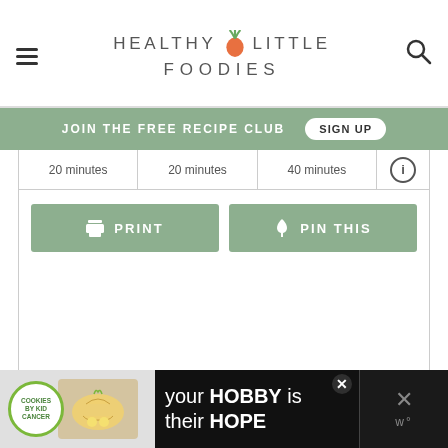HEALTHY LITTLE FOODIES
JOIN THE FREE RECIPE CLUB   SIGN UP
20 minutes   20 minutes   40 minutes
PRINT   PIN THIS
[Figure (screenshot): Slideshow placeholder area with three grey navigation dots]
[Figure (screenshot): Ad banner at bottom: cookies by kid cancer ad with hobby/hope text]